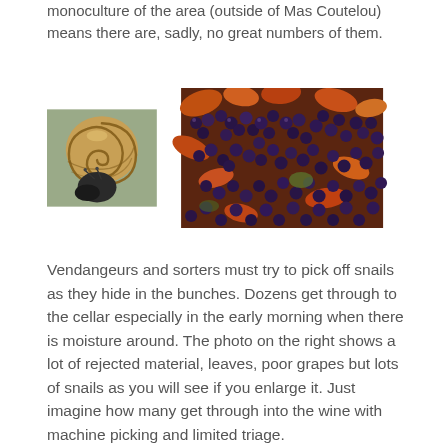monoculture of the area (outside of Mas Coutelou) means there are, sadly, no great numbers of them.
[Figure (photo): Two side-by-side photos: left shows a close-up of a snail with a brown spiral shell and dark body on a metallic surface; right shows a large pile of harvested grapes mixed with leaves and other rejected material.]
Vendangeurs and sorters must try to pick off snails as they hide in the bunches. Dozens get through to the cellar especially in the early morning when there is moisture around. The photo on the right shows a lot of rejected material, leaves, poor grapes but lots of snails as you will see if you enlarge it. Just imagine how many get through into the wine with machine picking and limited triage.